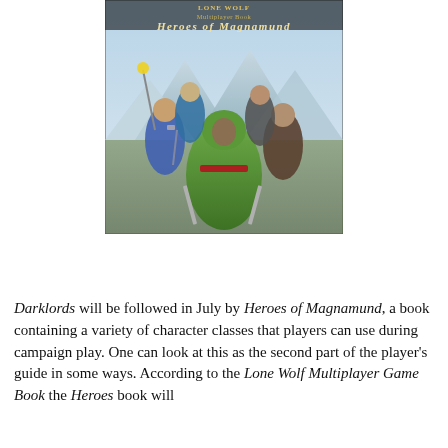[Figure (illustration): Book cover of 'Heroes of Magnamund' (Lone Wolf Multiplayer Book). Shows a group of fantasy adventurers — a hooded figure in green cloak at the front center holding a sword, surrounded by other warriors and a mage holding a glowing staff aloft, against a mountain backdrop.]
Darklords will be followed in July by Heroes of Magnamund, a book containing a variety of character classes that players can use during campaign play. One can look at this as the second part of the player's guide in some ways. According to the Lone Wolf Multiplayer Game Book the Heroes book will